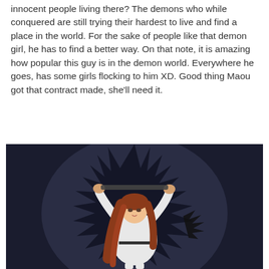innocent people living there? The demons who while conquered are still trying their hardest to live and find a place in the world. For the sake of people like that demon girl, he has to find a better way. On that note, it is amazing how popular this guy is in the demon world. Everywhere he goes, has some girls flocking to him XD. Good thing Maou got that contract made, she'll need it.
[Figure (illustration): Anime screenshot showing a female character with long red-brown hair wearing a white outfit, holding something above her head with both arms raised, set against a dark circular background with spiky edges, in a dramatic pose.]